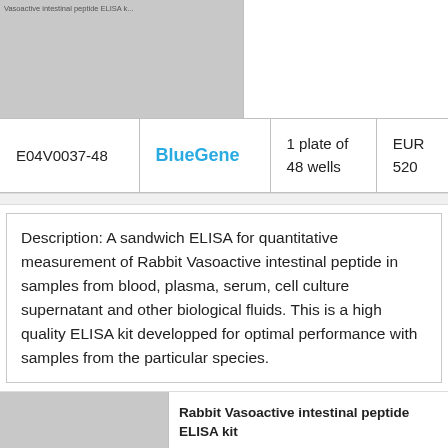[Figure (photo): Grayscale product image placeholder for Vasoactive intestinal peptide ELISA kit]
| Product Code | Brand | Size | Price |
| --- | --- | --- | --- |
| E04V0037-48 | BlueGene | 1 plate of 48 wells | EUR 520 |
Description: A sandwich ELISA for quantitative measurement of Rabbit Vasoactive intestinal peptide in samples from blood, plasma, serum, cell culture supernatant and other biological fluids. This is a high quality ELISA kit developped for optimal performance with samples from the particular species.
[Figure (photo): Grayscale product image for Rabbit Vasoactive intestinal peptide ELISA kit]
Rabbit Vasoactive intestinal peptide ELISA kit